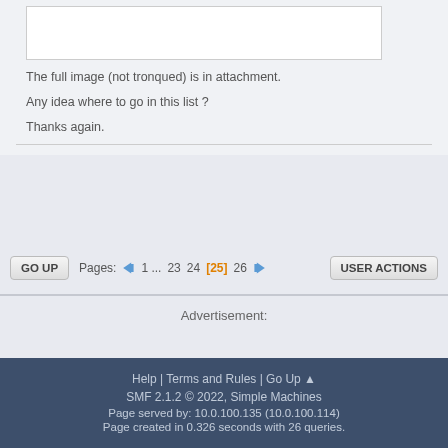[Figure (screenshot): Partial image box with border, white background, representing a truncated image attachment in a forum post]
The full image (not tronqued) is in attachment.
Any idea where to go in this list ?

Thanks again.
Pages: ← 1 ... 23 24 [25] 26 → GO UP USER ACTIONS
Advertisement:
Help | Terms and Rules | Go Up ▲
SMF 2.1.2 © 2022, Simple Machines
Page served by: 10.0.100.135 (10.0.100.114)
Page created in 0.326 seconds with 26 queries.